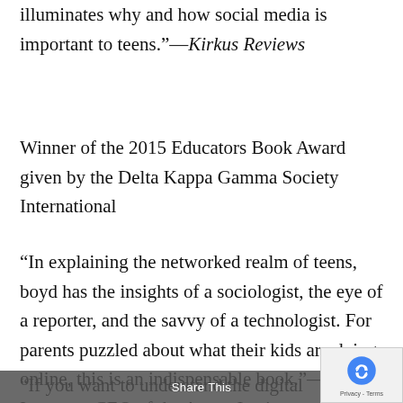illuminates why and how social media is important to teens.”—Kirkus Reviews
Winner of the 2015 Educators Book Award given by the Delta Kappa Gamma Society International
“In explaining the networked realm of teens, boyd has the insights of a sociologist, the eye of a reporter, and the savvy of a technologist. For parents puzzled about what their kids are doing online, this is an indispensable book.”—Walter Isaacson, CEO of the Aspen Institute, author of Steve Jobs
“If you want to understand the digital